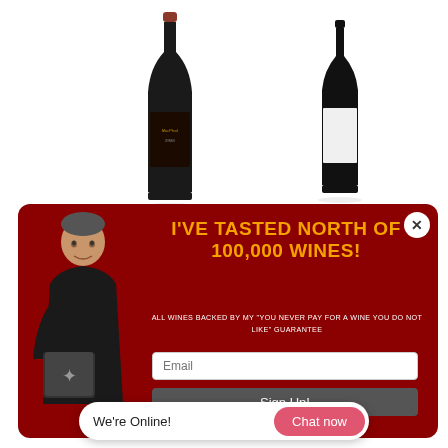[Figure (photo): Two wine bottles on white background. Left bottle is dark with black label (MacPhail brand). Right bottle is dark with white/minimalist label.]
[Figure (photo): Marketing modal popup with dark red background. Shows a man in black holding a wine gift box on the left. Text reads: I'VE TASTED NORTH OF 100,000 WINES! with email signup form and Sign Up button.]
I'VE TASTED NORTH OF 100,000 WINES!
ALL WINES BACKED BY MY "YOU NEVER PAY FOR A WINE YOU DO NOT LIKE" GUARANTEE
* By co...
We're Online!
Chat now